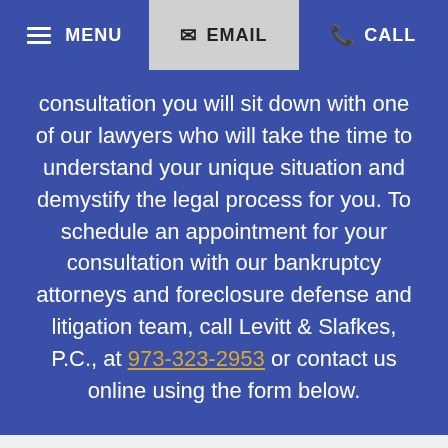MENU  EMAIL  CALL
consultation you will sit down with one of our lawyers who will take the time to understand your unique situation and demystify the legal process for you. To schedule an appointment for your consultation with our bankruptcy attorneys and foreclosure defense and litigation team, call Levitt & Slafkes, P.C., at 973-323-2953 or contact us online using the form below.